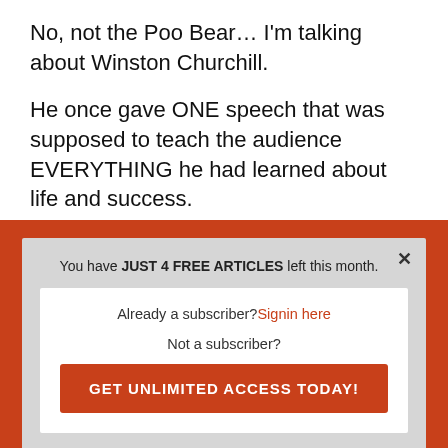No, not the Poo Bear… I'm talking about Winston Churchill.
He once gave ONE speech that was supposed to teach the audience EVERYTHING he had learned about life and success.
He stepped up to the microphone, took a long
[Figure (screenshot): Subscription modal overlay with orange border. Text: 'You have JUST 4 FREE ARTICLES left this month.' with a close X button. Inside white box: 'Already a subscriber? Signin here', 'Not a subscriber?', and an orange button 'GET UNLIMITED ACCESS TODAY!']